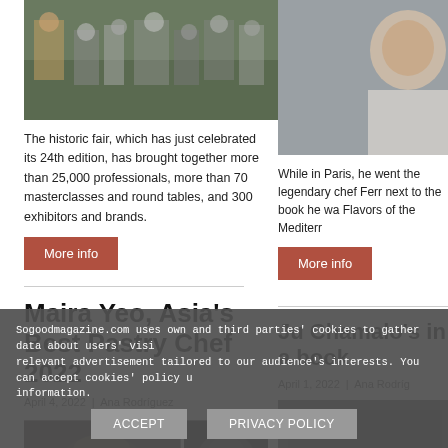[Figure (photo): Crowd of professionals at a trade fair, overhead/wide view]
The historic fair, which has just celebrated its 24th edition, has brought together more than 25,000 professionals, more than 70 masterclasses and round tables, and 300 exhibitors and brands.
More info
[Figure (photo): Close-up portrait of a person, partially visible]
While in Paris, he went the legendary chef Ferr next to the book he wa Flavors of the Mediterr
More info
Maira Yeo, Asia's Best Pastry Chef 2022
April 4, 2022 | Ana Rodríguez
Ju Chamalo's in a book
April 1, 2022 | Ana Rodríg
[Figure (photo): Two pastry/dessert dish photos side by side]
Sogoodmagazine.com uses own and third parties' cookies to gather data about users' visi relevant advertisement tailored to our audience's interests. You can accept cookies' policy information.
ACCEPT
PRIVACY POLICY